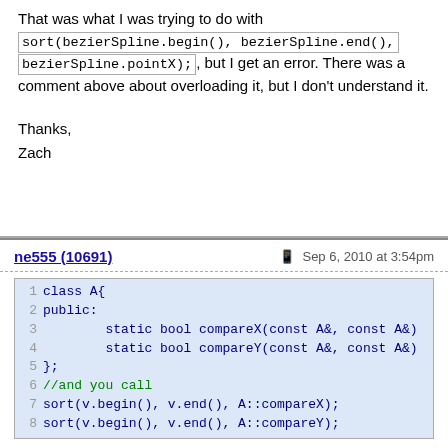That was what I was trying to do with sort(bezierSpline.begin(), bezierSpline.end(), bezierSpline.pointX);, but I get an error. There was a comment above about overloading it, but I don't understand it.

Thanks,
Zach
ne555 (10691)  Sep 6, 2010 at 3:54pm
1 class A{
2 public:
3     static bool compareX(const A&, const A&)
4     static bool compareY(const A&, const A&)
5 };
6 //and you call
7 sort(v.begin(), v.end(), A::compareX);
8 sort(v.begin(), v.end(), A::compareY);
You can avoid the third parameter in sort if your class has overloaded operator < (but you can't choose that way)